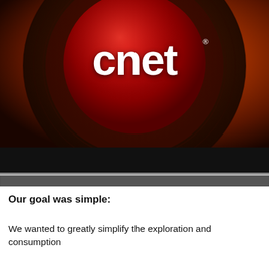[Figure (screenshot): CNET app logo on a tablet screen — large red circular button with white 'cnet' text on a dark orange/amber radial gradient background, with a black bezel and silver frame at the bottom.]
Our goal was simple:
We wanted to greatly simplify the exploration and consumption